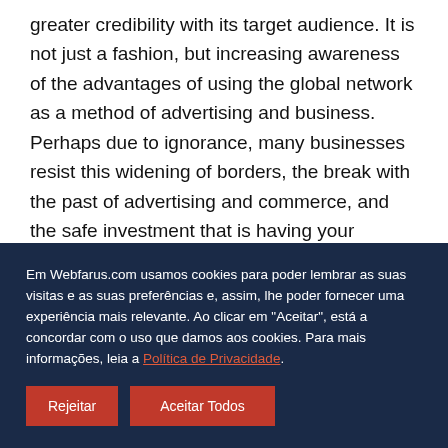greater credibility with its target audience. It is not just a fashion, but increasing awareness of the advantages of using the global network as a method of advertising and business. Perhaps due to ignorance, many businesses resist this widening of borders, the break with the past of advertising and commerce, and the safe investment that is having your company or business housed in the largest
Em Webfarus.com usamos cookies para poder lembrar as suas visitas e as suas preferências e, assim, lhe poder fornecer uma experiência mais relevante. Ao clicar em "Aceitar", está a concordar com o uso que damos aos cookies. Para mais informações, leia a Política de Privacidade.
Rejeitar
Aceitar Todos